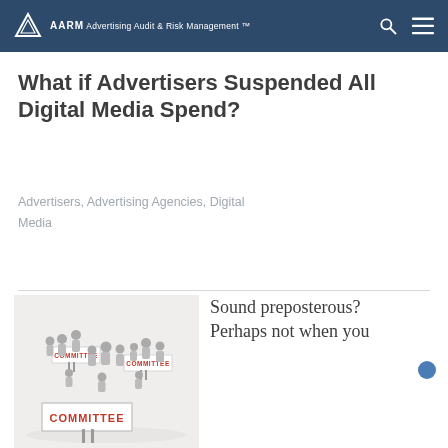AARM Advertising Audit & Risk Management
What if Advertisers Suspended All Digital Media Spend?
Advertisers, Advertising Agencies, Digital Media
[Figure (illustration): Illustration of groups of people holding signs that read COMMITTEE]
Sound preposterous? Perhaps not when you